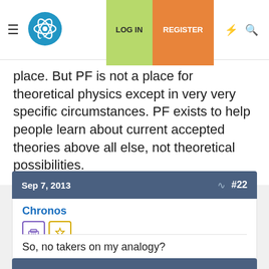Physics Forums — navigation bar with LOG IN and REGISTER buttons
place. But PF is not a place for theoretical physics except in very very specific circumstances. PF exists to help people learn about current accepted theories above all else, not theoretical possibilities.
Sep 7, 2013  #22
Chronos
So, no takers on my analogy?